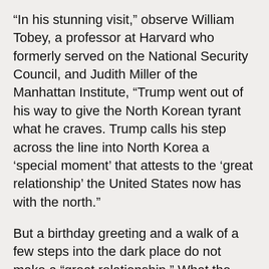“In his stunning visit,” observe William Tobey, a professor at Harvard who formerly served on the National Security Council, and Judith Miller of the Manhattan Institute, “Trump went out of his way to give the North Korean tyrant what he craves. Trump calls his step across the line into North Korea a ‘special moment’ that attests to the ‘great relationship’ the United States now has with the north.”
But a birthday greeting and a walk of a few steps into the dark place do not make a “great relationship.” What the president has forged — and it’s no small thing — is an acquaintance of convenience with a brutal tyrant. It can be a useful acquaintance as long as the president keeps in mind what it is, not what he wants it to be.